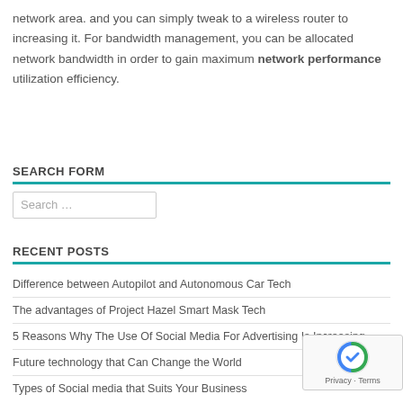network area. and you can simply tweak to a wireless router to increasing it. For bandwidth management, you can be allocated network bandwidth in order to gain maximum network performance utilization efficiency.
SEARCH FORM
[Figure (other): Search form input box with placeholder text 'Search ...']
RECENT POSTS
Difference between Autopilot and Autonomous Car Tech
The advantages of Project Hazel Smart Mask Tech
5 Reasons Why The Use Of Social Media For Advertising Is Increasing
Future technology that Can Change the World
Types of Social media that Suits Your Business